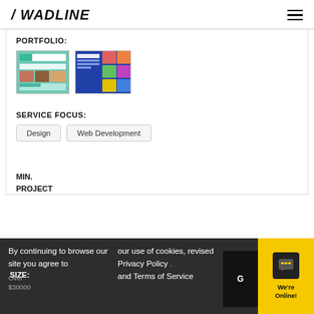/ WADLINE
PORTFOLIO:
[Figure (screenshot): Two website portfolio thumbnail screenshots side by side]
SERVICE FOCUS:
Design
Web Development
MIN.
PROJECT
SIZE:
Over
$30000
By continuing to browse our site you agree to
our use of cookies, revised Privacy Policy and Terms of Service
G
We're Online!